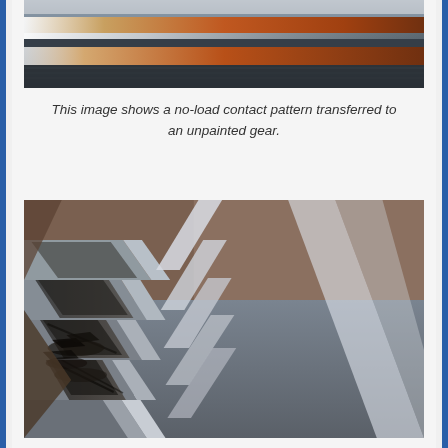[Figure (photo): Close-up photo of gear teeth with a contact pattern shown as an orange/rust-colored stripe transferred across polished metal gear tooth surfaces, viewed at an angle.]
This image shows a no-load contact pattern transferred to an unpainted gear.
[Figure (photo): Close-up photo of helical gear teeth showing wear marks and dark scuffing/spalling damage on the tooth flanks. The gear is metallic silver with visible damage across multiple teeth.]